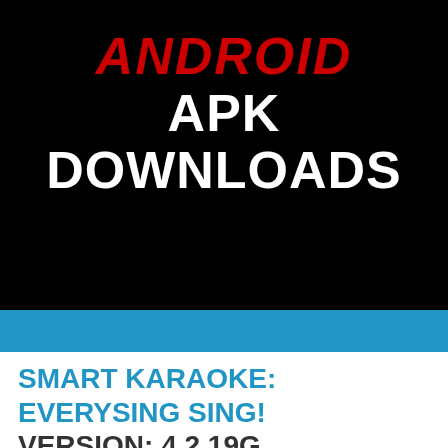ANDROID APK DOWNLOADS
SMART KARAOKE: EVERYSING SING!
VERSION:  4.2.19G